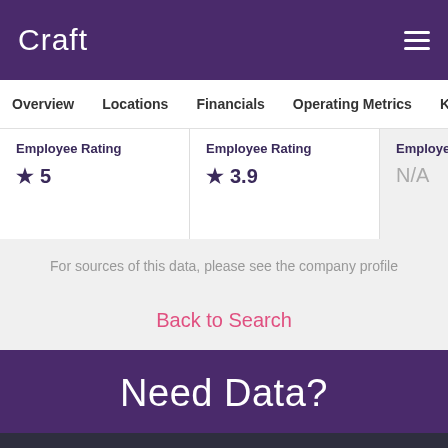Craft
Overview   Locations   Financials   Operating Metrics   Key P
Employee Rating ★ 5 | Employee Rating ★ 3.9 | Employee Rating N/A
For sources of this data, please see the company profile
Back to Search
Need Data?
Overview   Charts